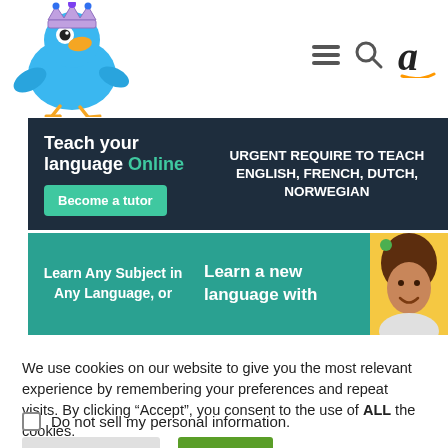[Figure (logo): Blue cartoon bird wearing a crown, styled as a Twitter bird mascot logo]
[Figure (infographic): Navigation icons: hamburger menu, search (magnifying glass), and Amazon 'a' logo with orange underline arc]
[Figure (infographic): Dark navy banner: 'Teach your language Online' with teal 'Become a tutor' button and text 'URGENT REQUIRE TO TEACH ENGLISH, FRENCH, DUTCH, NORWEGIAN']
[Figure (infographic): Teal banner: 'Learn Any Subject in Any Language, or' on left, 'Learn a new language with' in center, photo of woman on right with yellow background]
We use cookies on our website to give you the most relevant experience by remembering your preferences and repeat visits. By clicking “Accept”, you consent to the use of ALL the cookies.
Do not sell my personal information.
Cookie Settings | Accept